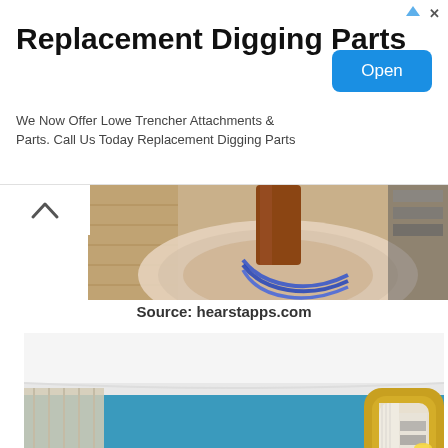[Figure (screenshot): Advertisement banner: 'Replacement Digging Parts' with blue Open button. Text: 'We Now Offer Lowe Trencher Attachments & Parts. Call Us Today Replacement Digging Parts']
[Figure (photo): Partial photo of a decorative rug with circular pattern and wooden furniture/cables visible from above]
Source: hearstapps.com
[Figure (photo): Interior room photo with teal/blue walls, gold-framed mirror, yellow lamp, paintings, white crown molding, and curtains with bookshelves reflected in mirror]